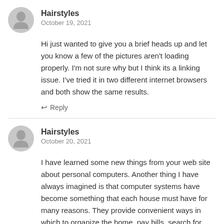Hairstyles
October 19, 2021
Hi just wanted to give you a brief heads up and let you know a few of the pictures aren't loading properly. I'm not sure why but I think its a linking issue. I've tried it in two different internet browsers and both show the same results.
Reply
Hairstyles
October 20, 2021
I have learned some new things from your web site about personal computers. Another thing I have always imagined is that computer systems have become something that each house must have for many reasons. They provide convenient ways in which to organize the home, pay bills, search for information, study, pay attention to music and in many cases watch shows. An innovative strategy to complete most of